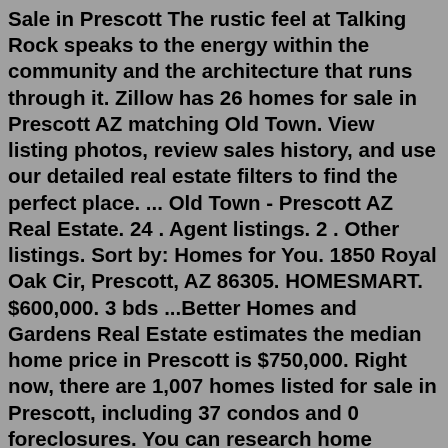Sale in Prescott The rustic feel at Talking Rock speaks to the energy within the community and the architecture that runs through it. Zillow has 26 homes for sale in Prescott AZ matching Old Town. View listing photos, review sales history, and use our detailed real estate filters to find the perfect place. ... Old Town - Prescott AZ Real Estate. 24 . Agent listings. 2 . Other listings. Sort by: Homes for You. 1850 Royal Oak Cir, Prescott, AZ 86305. HOMESMART. $600,000. 3 bds ...Better Homes and Gardens Real Estate estimates the median home price in Prescott is $750,000. Right now, there are 1,007 homes listed for sale in Prescott, including 37 condos and 0 foreclosures. You can research home values, browse Prescott's hottest homes, and see what Better Homes and Gardens Real Estate's agents have to say about... Show all »Real Estate Listings: » Residential homes » Homes » US » Arizona » Prescott Valley » Granville » Home For Sale In Prescott Valley, Arizona: 1. Advertisement. Home For Sale In Prescott Valley, Arizona » United States » Arizona » Prescott...